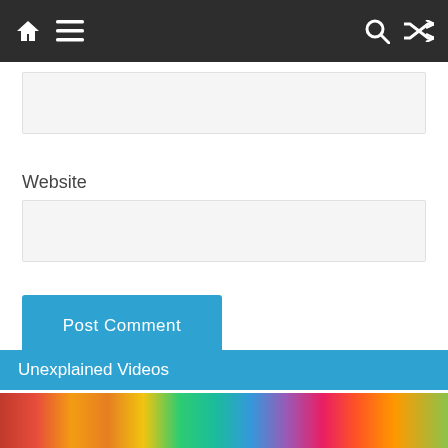Navigation bar with home, menu, search, and shuffle icons
[Figure (screenshot): Partially visible text input field (top, cut off)]
Website
[Figure (screenshot): Website text input field]
Post Comment
Unexplained Videos
[Figure (photo): Colorful image strip at the bottom of the page, partially visible]